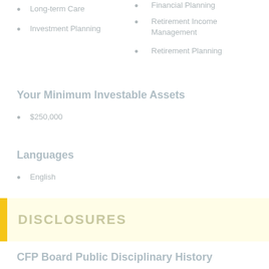Long-term Care
Investment Planning
Financial Planning
Retirement Income Management
Retirement Planning
Your Minimum Investable Assets
$250,000
Languages
English
DISCLOSURES
CFP Board Public Disciplinary History